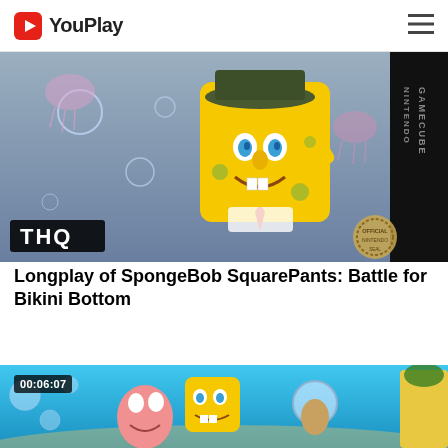YouPlay
[Figure (screenshot): SpongeBob SquarePants: Battle for Bikini Bottom Nintendo GameCube game box art thumbnail showing SpongeBob saluting with THQ logo and Nintendo GameCube branding]
Longplay of SpongeBob SquarePants: Battle for Bikini Bottom
[Figure (screenshot): SpongeBob SquarePants video thumbnail showing SpongeBob, Patrick, and Sandy characters with duration 00:06:07]